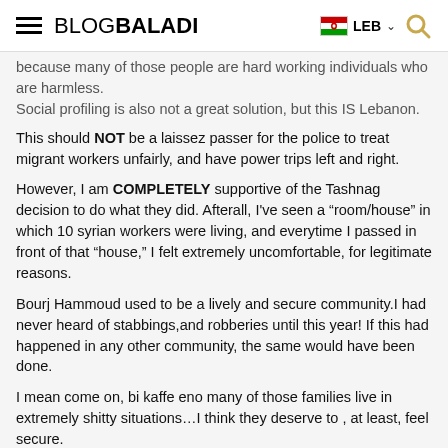BLOGBALADI | LEB
because many of those people are hard working individuals who are harmless.
Social profiling is also not a great solution, but this IS Lebanon.

This should NOT be a laissez passer for the police to treat migrant workers unfairly, and have power trips left and right.

However, I am COMPLETELY supportive of the Tashnag decision to do what they did. Afterall, I've seen a "room/house" in which 10 syrian workers were living, and everytime I passed in front of that "house," I felt extremely uncomfortable, for legitimate reasons.

Bourj Hammoud used to be a lively and secure community.I had never heard of stabbings,and robberies until this year! If this had happened in any other community, the same would have been done.

I mean come on, bi kaffe eno many of those families live in extremely shitty situations...I think they deserve to , at least, feel secure.

enough said.